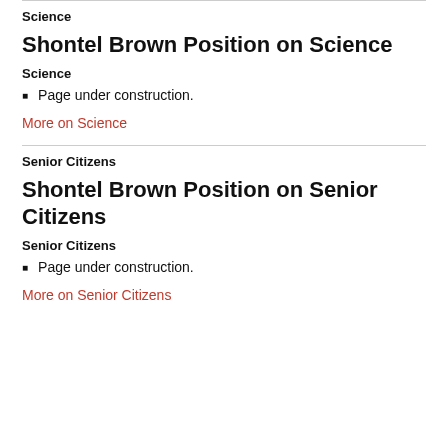Science
Shontel Brown Position on Science
Science
Page under construction.
More on Science
Senior Citizens
Shontel Brown Position on Senior Citizens
Senior Citizens
Page under construction.
More on Senior Citizens